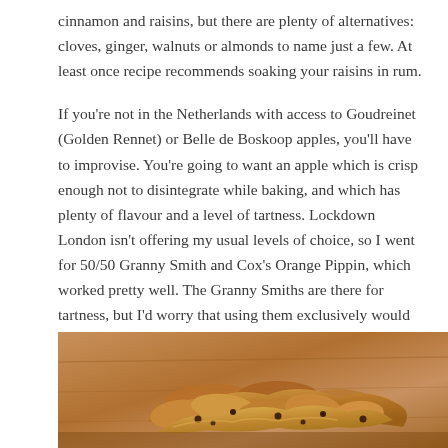cinnamon and raisins, but there are plenty of alternatives: cloves, ginger, walnuts or almonds to name just a few. At least once recipe recommends soaking your raisins in rum.
If you’re not in the Netherlands with access to Goudreinet (Golden Rennet) or Belle de Boskoop apples, you’ll have to improvise. You’re going to want an apple which is crisp enough not to disintegrate while baking, and which has plenty of flavour and a level of tartness. Lockdown London isn’t offering my usual levels of choice, so I went for 50/50 Granny Smith and Cox’s Orange Pippin, which worked pretty well. The Granny Smiths are there for tartness, but I’d worry that using them exclusively would be both too sour and too watery.
[Figure (photo): A close-up photograph of baked pastry or apple-based baked goods on a wooden surface, showing golden-brown baked pieces with a warm amber tone.]